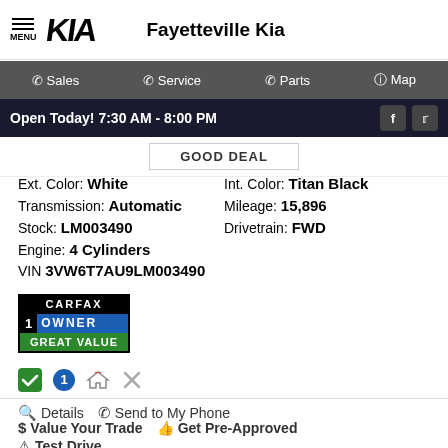Fayetteville Kia
Sales  Service  Parts  Map
Open Today! 7:30 AM - 8:00 PM
GOOD DEAL
Ext. Color: White   Int. Color: Titan Black
Transmission: Automatic   Mileage: 15,896
Stock: LM003490   Drivetrain: FWD
Engine: 4 Cylinders
VIN 3VW6T7AU9LM003490
[Figure (logo): CARFAX 1 Owner Great Value badge]
Details  Send to My Phone
$ Value Your Trade  Get Pre-Approved
Test Drive